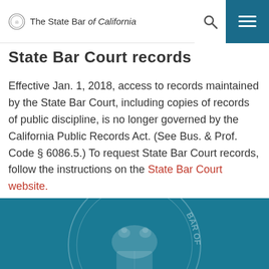The State Bar of California
State Bar Court records
Effective Jan. 1, 2018, access to records maintained by the State Bar Court, including copies of records of public discipline, is no longer governed by the California Public Records Act. (See Bus. & Prof. Code § 6086.5.) To request State Bar Court records, follow the instructions on the State Bar Court website.
[Figure (logo): State Bar of California seal watermark in teal footer]